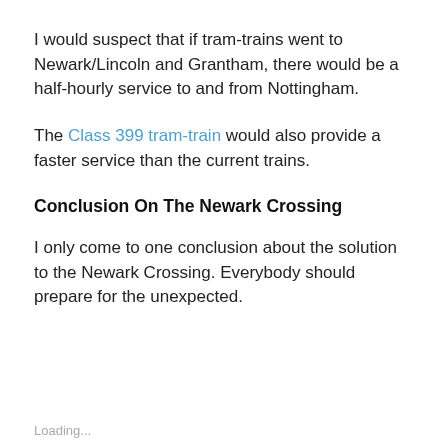I would suspect that if tram-trains went to Newark/Lincoln and Grantham, there would be a half-hourly service to and from Nottingham.
The Class 399 tram-train would also provide a faster service than the current trains.
Conclusion On The Newark Crossing
I only come to one conclusion about the solution to the Newark Crossing. Everybody should prepare for the unexpected.
Loading...